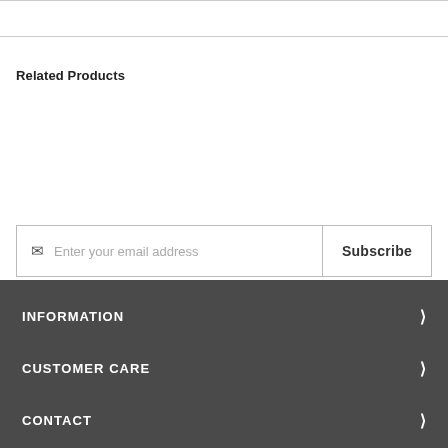Related Products
Enter your email address
Subscribe
INFORMATION
CUSTOMER CARE
CONTACT